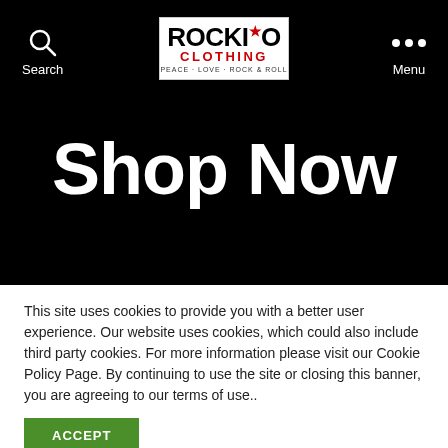[Figure (logo): Rockio Clothing logo — bold black text with red star above 'i', red 'CLOTHING' subtitle, tagline PEACE · LOVE · ROCK & ROLL]
Search
Menu
Shop Now
This site uses cookies to provide you with a better user experience. Our website uses cookies, which could also include third party cookies. For more information please visit our Cookie Policy Page. By continuing to use the site or closing this banner, you are agreeing to our terms of use..
ACCEPT